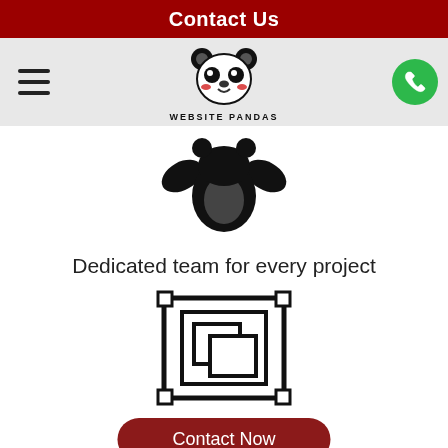Contact Us
[Figure (logo): Website Pandas logo: cute panda face with red cheeks and text WEBSITE PANDAS below]
[Figure (illustration): Black and white cartoon panda body/torso icon]
Dedicated team for every project
[Figure (illustration): Black and white vector icon of overlapping rectangles/frames (design/layout icon)]
Contact Now
Strong... design